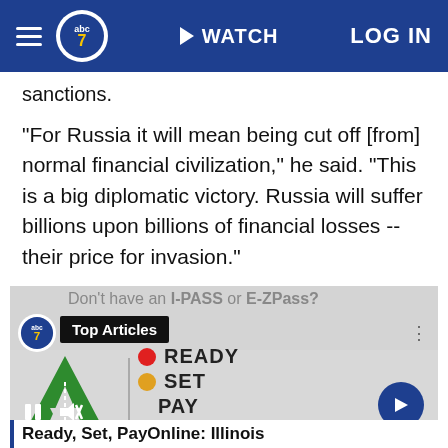ABC7 — WATCH  LOG IN
sanctions.
"For Russia it will mean being cut off [from] normal financial civilization," he said. "This is a big diplomatic victory. Russia will suffer billions upon billions of financial losses -- their price for invasion."
[Figure (screenshot): Video embed showing Illinois Tollway 'Ready, Set, Pay Online' advertisement. Shows the tollway green logo, traffic light graphic with READY SET PAY ONLINE text, pause and mute controls, and a blue arrow navigation button. A 'Top Articles' badge overlays the top. Illinois tollway URL visible at bottom. Caption reads: Ready, Set, PayOnline: Illinois]
Ready, Set, PayOnline: Illinois